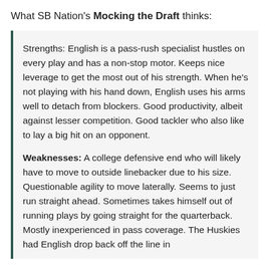What SB Nation's Mocking the Draft thinks:
Strengths: English is a pass-rush specialist hustles on every play and has a non-stop motor. Keeps nice leverage to get the most out of his strength. When he's not playing with his hand down, English uses his arms well to detach from blockers. Good productivity, albeit against lesser competition. Good tackler who also like to lay a big hit on an opponent.
Weaknesses: A college defensive end who will likely have to move to outside linebacker due to his size. Questionable agility to move laterally. Seems to just run straight ahead. Sometimes takes himself out of running plays by going straight for the quarterback. Mostly inexperienced in pass coverage. The Huskies had English drop back off the line in